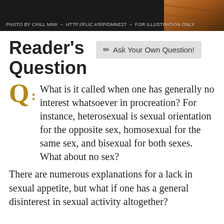[Figure (photo): Dark header bar with a warm-toned photo of a wooden surface on the right side. Text credit reads: PHOTO BY CHILL MIMI - HTTP://FLIC.KR/P/DMNE27 - FOR ILLUSTRATION ONLY]
PHOTO BY CHILL MIMI - HTTP://FLIC.KR/P/DMNE27 - FOR ILLUSTRATION ONLY
Reader's Question
Ask Your Own Question!
Q: What is it called when one has generally no interest whatsoever in procreation? For instance, heterosexual is sexual orientation for the opposite sex, homosexual for the same sex, and bisexual for both sexes. What about no sex?
There are numerous explanations for a lack in sexual appetite, but what if one has a general disinterest in sexual activity altogether?